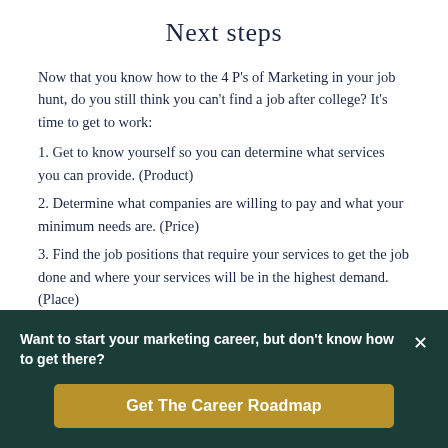Next steps
Now that you know how to the 4 P’s of Marketing in your job hunt, do you still think you can’t find a job after college? It’s time to get to work:
1. Get to know yourself so you can determine what services you can provide. (Product)
2. Determine what companies are willing to pay and what your minimum needs are. (Price)
3. Find the job positions that require your services to get the job done and where your services will be in the highest demand. (Place)
Want to start your marketing career, but don’t know how to get there?
Get The Career Roadmap